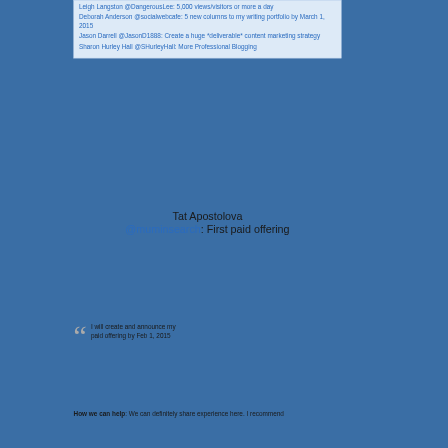Leigh Langston @DangerousLee: 5,000 views/visitors or more a day
Deborah Anderson @socialwebcafe: 5 new columns to my writing portfolio by March 1, 2015
Jason Darrell @JasonD1888: Create a huge *deliverable* content marketing strategy
Sharon Hurley Hall @SHurleyHall: More Professional Blogging
Tat Apostolova @muminsearch: First paid offering
I will create and announce my paid offering by Feb 1, 2015
How we can help: We can definitely share experience here. I recommend